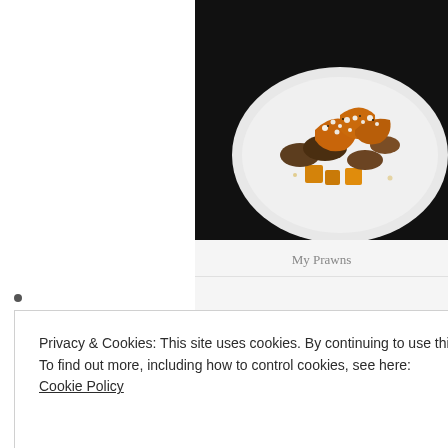[Figure (photo): Food photo showing cooked prawns with crumbled topping on a white plate with garnishes, photographed on dark background]
My Prawns
•
Privacy & Cookies: This site uses cookies. By continuing to use this website, you agree to their use.
To find out more, including how to control cookies, see here:
Cookie Policy
Close and accept